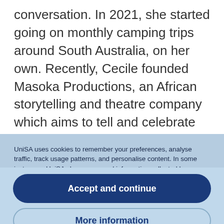conversation. In 2021, she started going on monthly camping trips around South Australia, on her own. Recently, Cecile founded Masoka Productions, an African storytelling and theatre company which aims to tell and celebrate African stories, the African way.
UniSA uses cookies to remember your preferences, analyse traffic, track usage patterns, and personalise content. In some instances, UniSA shares personal information collected by cookies with UniSA's third party service providers. See our privacy notification for further details. To adjust your cookie settings, click 'More information'. By clicking 'Accept and continue', you consent to our use of cookies.
Accept and continue
More information